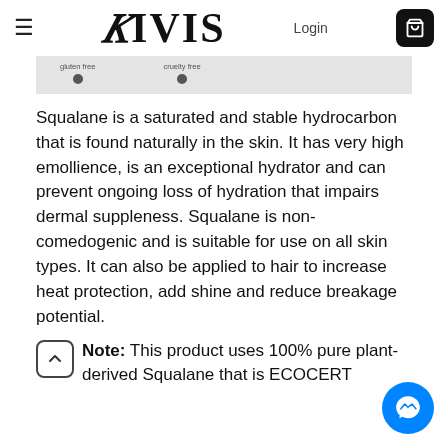≡  YIVIS  Login  🛒
[Figure (other): Product badge strip showing 'gluten free' and 'cruelty free' labels with dark dot icons on a grey background]
Squalane is a saturated and stable hydrocarbon that is found naturally in the skin. It has very high emollience, is an exceptional hydrator and can prevent ongoing loss of hydration that impairs dermal suppleness. Squalane is non-comedogenic and is suitable for use on all skin types. It can also be applied to hair to increase heat protection, add shine and reduce breakage potential.
Note: This product uses 100% pure plant-derived Squalane that is ECOCERT